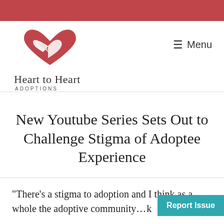[Figure (logo): Heart to Heart Adoptions logo with two overlapping hearts (red and white) above the text 'Heart to Heart ADOPTIONS']
New Youtube Series Sets Out to Challenge Stigma of Adoptee Experience
“There’s a stigma to adoption and I think as a whole the adoptive community…k